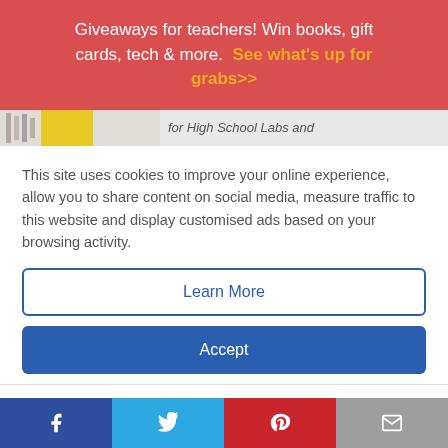Giveaways for teachers! Win books, gift cards, tech & more. See what's up for grabs>>
[Figure (photo): Partial view of a photo showing lab-related image with yellow element and text 'for High School Labs and']
This site uses cookies to improve your online experience, allow you to share content on social media, measure traffic to this website and display customised ads based on your browsing activity.
Learn More
Accept
Leave a reply
You must be logged in to post a comment.
Facebook Twitter Pinterest Email social share buttons